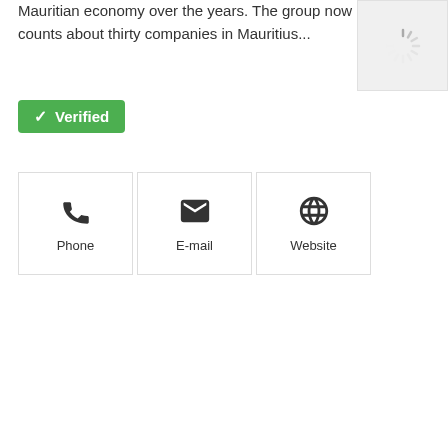Mauritian economy over the years. The group now counts about thirty companies in Mauritius...
[Figure (illustration): Loading spinner image placeholder with grey background]
✓ Verified
[Figure (infographic): Three contact buttons: Phone, E-mail, Website with icons]